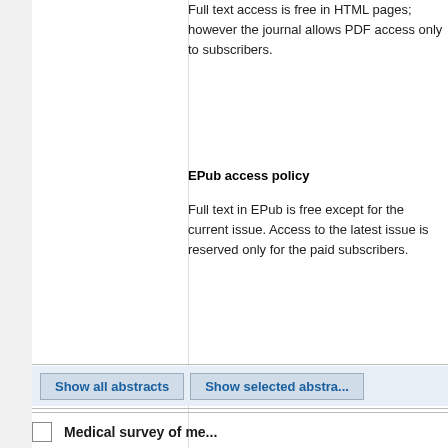Full text access is free in HTML pages; however the journal allows PDF access only to subscribers.
EPub access policy
Full text in EPub is free except for the current issue. Access to the latest issue is reserved only for the paid subscribers.
Show all abstracts
Show selected abstracts
Medical survey of me...